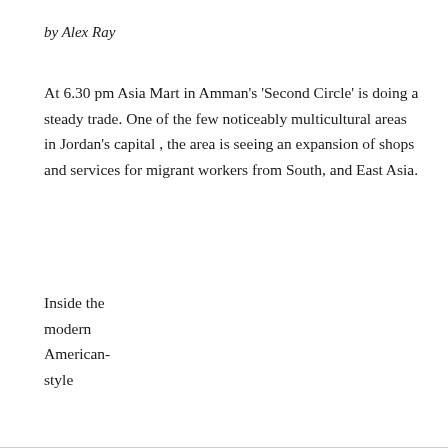by Alex Ray
At 6.30 pm Asia Mart in Amman's 'Second Circle' is doing a steady trade. One of the few noticeably multicultural areas in Jordan's capital , the area is seeing an expansion of shops and services for migrant workers from South, and East Asia.
Inside the modern American-style